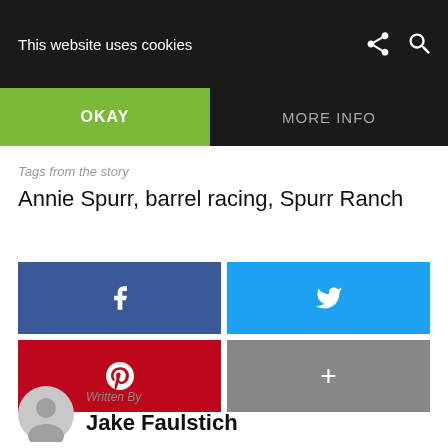This website uses cookies  OKAY  MORE INFO
Tags from the story
Annie Spurr, barrel racing, Spurr Ranch
[Figure (infographic): Social share buttons: Facebook (blue), Twitter (light blue), Pinterest (red), More/Plus (grey)]
Written By
Jake Faulstich